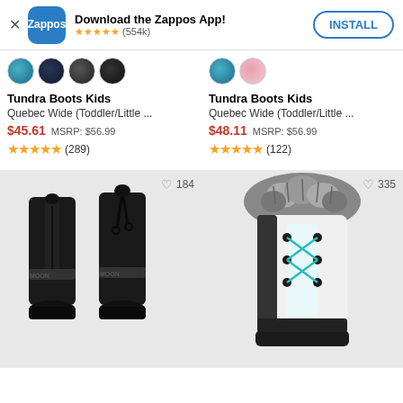[Figure (screenshot): Zappos app install banner with logo icon, star rating (554k reviews), and INSTALL button]
[Figure (illustration): Color swatches for left product: teal/blue, dark navy, dark grey, black]
Tundra Boots Kids
Quebec Wide (Toddler/Little ...
$45.61  MSRP: $56.99
★★★★★ (289)
[Figure (illustration): Color swatches for right product: teal/blue, pink]
Tundra Boots Kids
Quebec Wide (Toddler/Little ...
$48.11  MSRP: $56.99
★★★★★ (122)
[Figure (photo): Black Moon Boot snow boots with laces, wishlist heart with 184]
[Figure (photo): White winter boot with teal laces and grey fur trim, wishlist heart with 335]